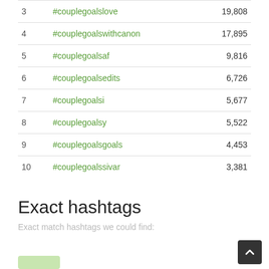| Rank | Hashtag | Count |
| --- | --- | --- |
| 3 | #couplegoalslove | 19,808 |
| 4 | #couplegoalswithcanon | 17,895 |
| 5 | #couplegoalsaf | 9,816 |
| 6 | #couplegoalsedits | 6,726 |
| 7 | #couplegoalsi | 5,677 |
| 8 | #couplegoalsy | 5,522 |
| 9 | #couplegoalsgoals | 4,453 |
| 10 | #couplegoalssivar | 3,381 |
Exact hashtags
Exact match hashtags we could find: